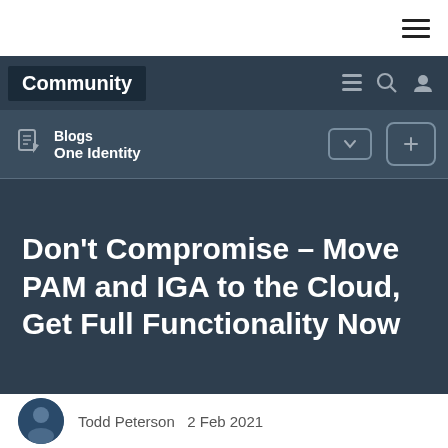[Figure (screenshot): Community website navigation screenshot showing hamburger menu icon in top-right white bar]
Community
Blogs
One Identity
Don’t Compromise – Move PAM and IGA to the Cloud, Get Full Functionality Now
Todd Peterson  2 Feb 2021